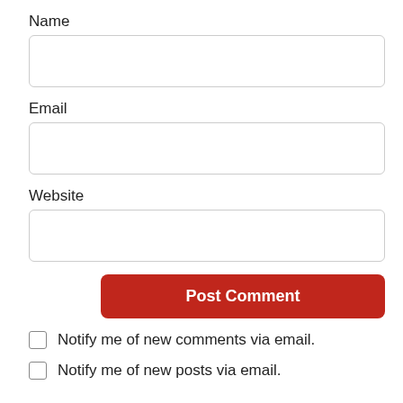Name
[Figure (other): Empty text input field for Name]
Email
[Figure (other): Empty text input field for Email]
Website
[Figure (other): Empty text input field for Website]
[Figure (other): Post Comment button in red]
Notify me of new comments via email.
Notify me of new posts via email.